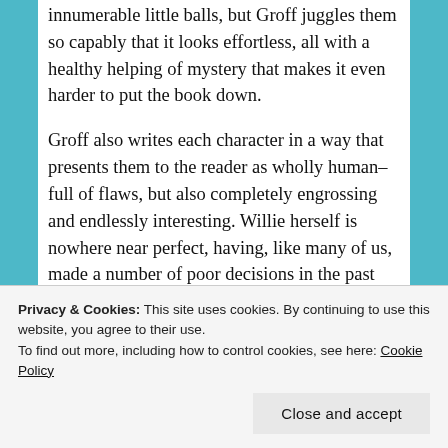innumerable little balls, but Groff juggles them so capably that it looks effortless, all with a healthy helping of mystery that makes it even harder to put the book down.
Groff also writes each character in a way that presents them to the reader as wholly human–full of flaws, but also completely engrossing and endlessly interesting. Willie herself is nowhere near perfect, having, like many of us, made a number of poor decisions in the past (and in the present). But she is also brilliant, and loves very
Privacy & Cookies: This site uses cookies. By continuing to use this website, you agree to their use.
To find out more, including how to control cookies, see here: Cookie Policy
Close and accept
plot they are entangled in, make it very easy to